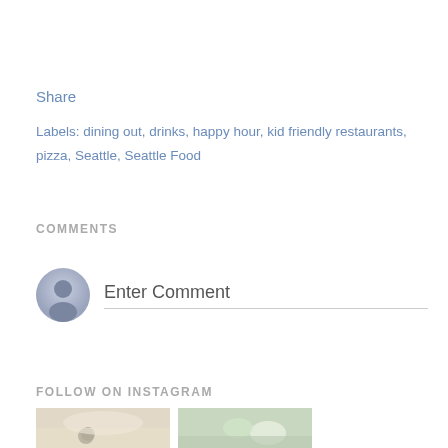Share
Labels: dining out, drinks, happy hour, kid friendly restaurants, pizza, Seattle, Seattle Food
COMMENTS
Enter Comment
FOLLOW ON INSTAGRAM
[Figure (photo): Two Instagram food photos partially visible at bottom of page]